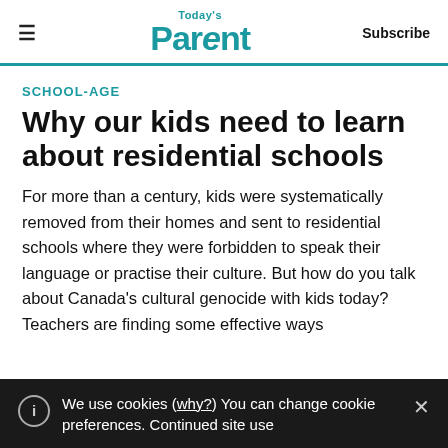Today's Parent — Subscribe
SCHOOL-AGE
Why our kids need to learn about residential schools
For more than a century, kids were systematically removed from their homes and sent to residential schools where they were forbidden to speak their language or practise their culture. But how do you talk about Canada's cultural genocide with kids today? Teachers are finding some effective ways
We use cookies (why?) You can change cookie preferences. Continued site use